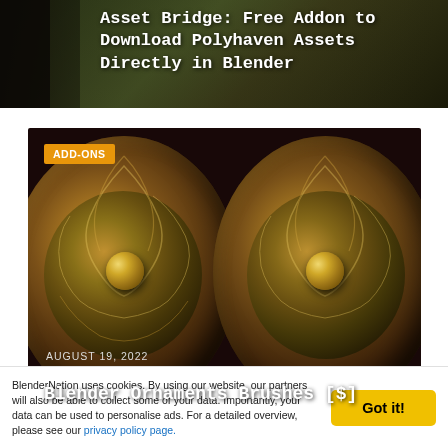[Figure (photo): Top banner image showing forest background with title 'Asset Bridge: Free Addon to Download Polyhaven Assets Directly in Blender' overlaid in white monospace text]
[Figure (photo): Blender ornament brushes product card showing two ornate bronze medieval shields side by side with decorative engravings, labeled ADD-ONS, dated August 19, 2022, with title 'Blender Ornaments Brushes [$]']
BlenderNation uses cookies. By using our website, our partners will also be able to collect some of your data. Importantly, your data can be used to personalise ads. For a detailed overview, please see our privacy policy page.